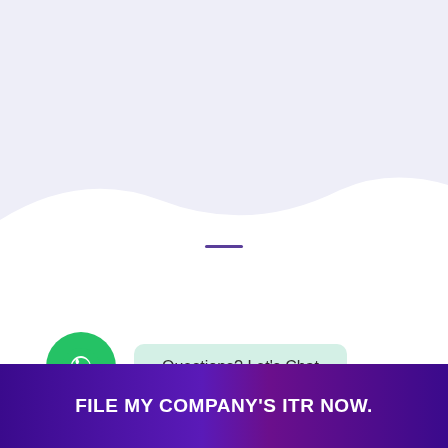[Figure (illustration): Light lavender background with white wave curve separating top area from white section below]
FAQs
[Figure (illustration): Green circular WhatsApp icon button next to a light green rounded rectangle with text 'Questions? Let's Chat']
Questions? Let's Chat
FILE MY COMPANY'S ITR NOW.